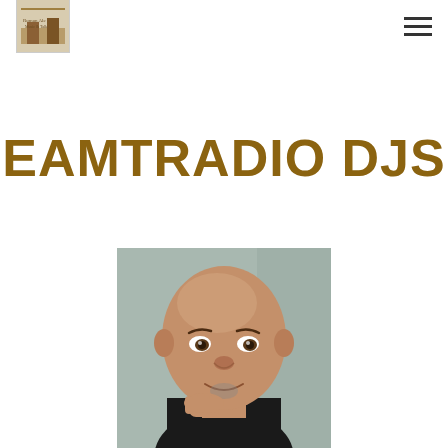EAMTRADIO DJS – site logo and navigation
EAMTRADIO DJS
[Figure (photo): Portrait photo of a bald man with light brown skin, looking at the camera with his chin resting on his hand, wearing a dark turtleneck. Background is light grey/blue.]